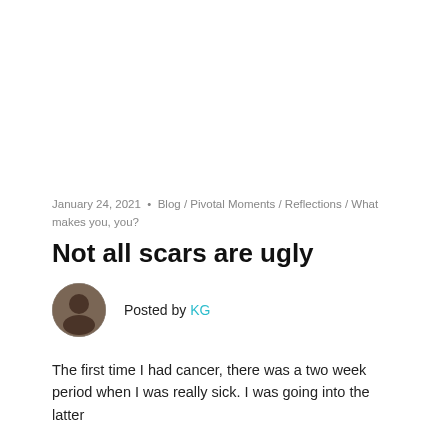[Figure (photo): Top image area (white/blank, image not visible in this crop)]
January 24, 2021  •  Blog / Pivotal Moments / Reflections / What makes you, you?
Not all scars are ugly
Posted by KG
The first time I had cancer, there was a two week period when I was really sick. I was going into the latter